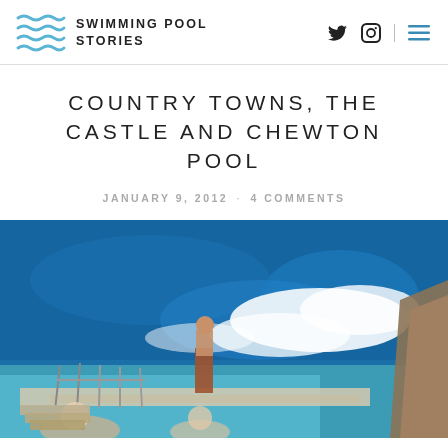SWIMMING POOL STORIES
COUNTRY TOWNS, THE CASTLE AND CHEWTON POOL
JANUARY 9, 2012 · 4 COMMENTS
[Figure (photo): A person standing at the edge of an ocean pool or rock platform with large waves crashing in the background. The water is vivid blue and white foam from the waves is visible. Metal railings line a concrete platform, and several people are visible in the lower foreground.]